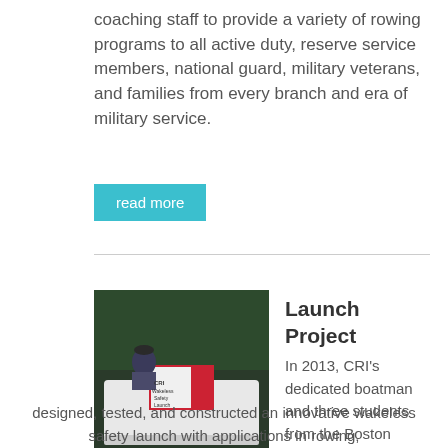coaching staff to provide a variety of rowing programs to all active duty, reserve service members, national guard, military veterans, and families from every branch and era of military service.
read more
Launch Project
[Figure (photo): A person standing on a white boat labeled 'CRI Wakeless Safety Launch' with CRI logos visible]
In 2013, CRI's dedicated boatman and three students from the Boston Public Schools designed, tested, and constructed an innovative wakeless safety launch with applications in rowing,